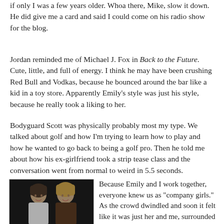if only I was a few years older. Whoa there, Mike, slow it down. He did give me a card and said I could come on his radio show for the blog.
Jordan reminded me of Michael J. Fox in Back to the Future. Cute, little, and full of energy. I think he may have been crushing Red Bull and Vodkas, because he bounced around the bar like a kid in a toy store. Apparently Emily's style was just his style, because he really took a liking to her.
Bodyguard Scott was physically probably most my type. We talked about golf and how I'm trying to learn how to play and how he wanted to go back to being a golf pro. Then he told me about how his ex-girlfriend took a strip tease class and the conversation went from normal to weird in 5.5 seconds.
[Figure (photo): Two women smiling together in a dark setting, one with dark hair wearing a white top, one with blonde hair]
Because Emily and I work together, everyone knew us as "company girls." As the crowd dwindled and soon it felt like it was just her and me, surrounded by